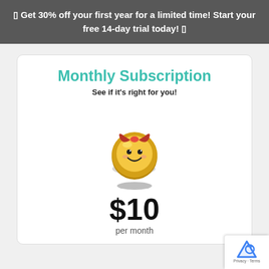🎁 Get 30% off your first year for a limited time! Start your free 14-day trial today! 🎁
Monthly Subscription
See if it's right for you!
[Figure (illustration): Cute cartoon coin with a red bow on top and a smiling face, with a shadow ellipse beneath it]
$10
per month